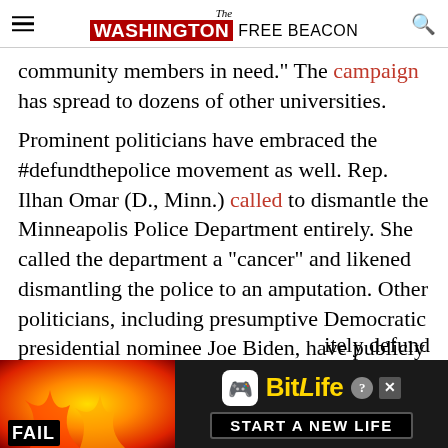The Washington Free Beacon
community members in need." The campaign has spread to dozens of other universities.
Prominent politicians have embraced the #defundthepolice movement as well. Rep. Ilhan Omar (D., Minn.) called to dismantle the Minneapolis Police Department entirely. She called the department a "cancer" and likened dismantling the police to an amputation. Other politicians, including presumptive Democratic presidential nominee Joe Biden, have publicly supported the Black Lives Matter movement but
[Figure (screenshot): BitLife mobile game advertisement banner with 'FAIL' text on orange/flame background on left, and 'BitLife START A NEW LIFE' text on dark background on right, with info and close buttons]
...itely defund